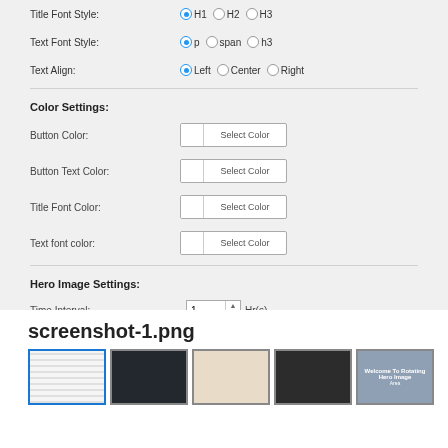Title Font Style: ● H1 ○ H2 ○ H3
Text Font Style: ● p ○ span ○ h3
Text Align: ● Left ○ Center ○ Right
Color Settings:
Button Color: [Select Color]
Button Text Color: [Select Color]
Title Font Color: [Select Color]
Text font color: [Select Color]
Hero Image Settings:
Time Interval: 1 Hr(s)
Save Changes
screenshot-1.png
[Figure (screenshot): Row of 5 thumbnail screenshots of the settings page]